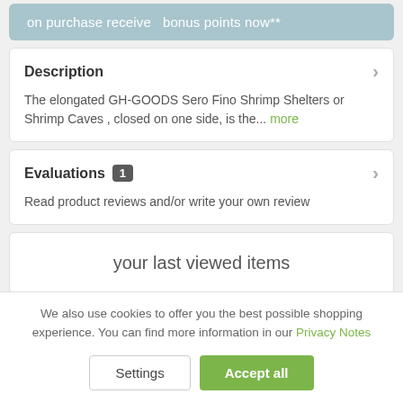on purchase receive   bonus points now**
Description
The elongated GH-GOODS Sero Fino Shrimp Shelters or Shrimp Caves , closed on one side, is the... more
Evaluations  1
Read product reviews and/or write your own review
your last viewed items
We also use cookies to offer you the best possible shopping experience. You can find more information in our Privacy Notes
Settings
Accept all